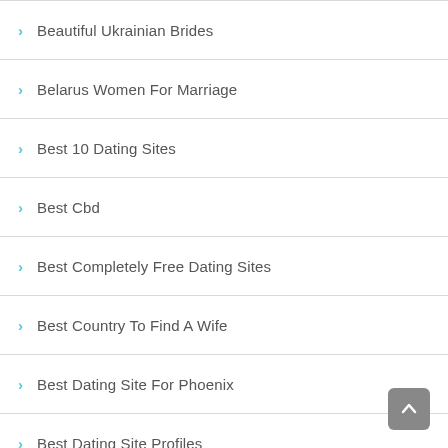Beautiful Ukrainian Brides
Belarus Women For Marriage
Best 10 Dating Sites
Best Cbd
Best Completely Free Dating Sites
Best Country To Find A Wife
Best Dating Site For Phoenix
Best Dating Site Profiles
Best Dating Sites 2018